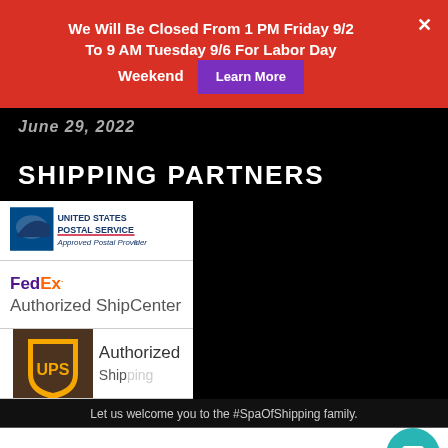We Will Be Closed From 1 PM Friday 9/2 To 9 AM Tuesday 9/6 For Labor Day Weekend
June 29, 2022
SHIPPING PARTNERS
[Figure (logo): United States Postal Service logo - Approved Postal Provider]
[Figure (logo): FedEx Authorized ShipCenter logo]
[Figure (logo): UPS Authorized Shipping logo (partially visible)]
Let us welcome you to the #SpaOfShipping family.
Your email address..
Subscribe